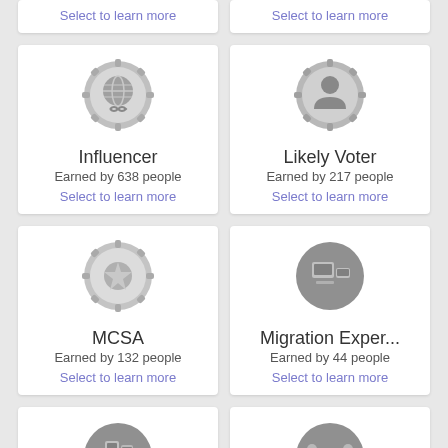Select to learn more
Select to learn more
[Figure (illustration): Influencer badge icon - circular gear/medallion badge with globe and infinity symbol]
Influencer
Earned by 638 people
Select to learn more
[Figure (illustration): Likely Voter badge icon - circular gear medallion with person/voter silhouette]
Likely Voter
Earned by 217 people
Select to learn more
[Figure (illustration): MCSA badge icon - circular gear/medallion seal badge]
MCSA
Earned by 132 people
Select to learn more
[Figure (illustration): Migration Expert badge icon - circular gray badge with computer/monitor icon]
Migration Exper...
Earned by 44 people
Select to learn more
[Figure (illustration): Mobile Expertise badge icon - circular gray badge with mobile device icon]
Mobile Expertise
Earned by 4 people
[Figure (illustration): Native Integrati... badge icon - circular gray badge with network/node icon]
Native Integrati...
Earned by 68 people